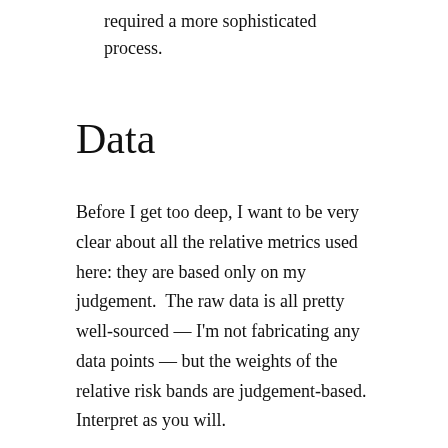required a more sophisticated process.
Data
Before I get too deep, I want to be very clear about all the relative metrics used here: they are based only on my judgement.  The raw data is all pretty well-sourced — I'm not fabricating any data points — but the weights of the relative risk bands are judgement-based.  Interpret as you will.
First, I had four natural-disaster risk maps to parse: hurricanes, tornadoes, earthquakes, and wildfires.  I broke each of these risk zones into 4 hazard bands,